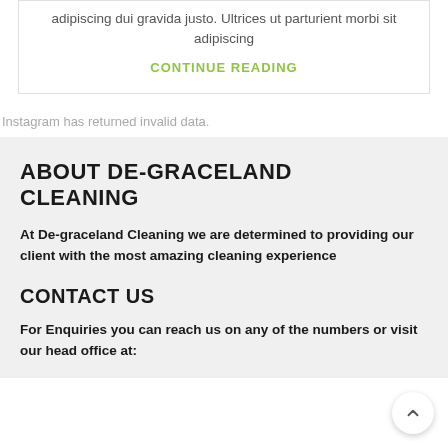adipiscing dui gravida justo. Ultrices ut parturient morbi sit adipiscing
CONTINUE READING
Instagram has returned invalid data.
ABOUT DE-GRACELAND CLEANING
At De-graceland Cleaning we are determined to providing our client with the most amazing cleaning experience
CONTACT US
For Enquiries you can reach us on any of the numbers or visit our head office at: